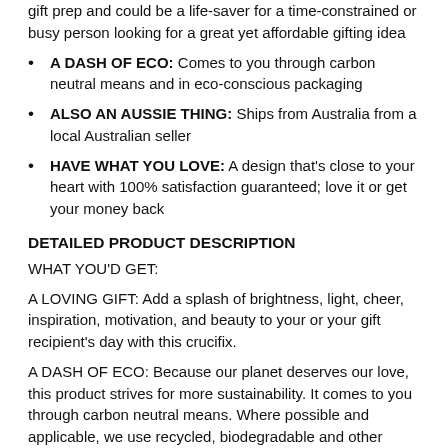gift prep and could be a life-saver for a time-constrained or busy person looking for a great yet affordable gifting idea
A DASH OF ECO: Comes to you through carbon neutral means and in eco-conscious packaging
ALSO AN AUSSIE THING: Ships from Australia from a local Australian seller
HAVE WHAT YOU LOVE: A design that’s close to your heart with 100% satisfaction guaranteed; love it or get your money back
DETAILED PRODUCT DESCRIPTION
WHAT YOU’D GET:
A LOVING GIFT: Add a splash of brightness, light, cheer, inspiration, motivation, and beauty to your or your gift recipient’s day with this crucifix.
A DASH OF ECO: Because our planet deserves our love, this product strives for more sustainability. It comes to you through carbon neutral means. Where possible and applicable, we use recycled, biodegradable and other planet-friendly materials in preparing it on its way to you, such as the world’s first...